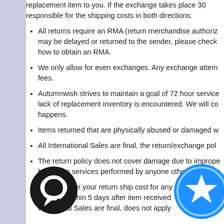replacement item to you. If the exchange takes place 30 days after purchase, you will be responsible for the shipping costs in both directions.
All returns require an RMA (return merchandise authorization) number. Without an RMA, returns may be delayed or returned to the sender, please check our return policy page for instructions on how to obtain an RMA.
We only allow for even exchanges. Any exchange attempt for a different item will be subject to fees.
Autumnwish strives to maintain a goal of 72 hour service turnaround time, except for when a lack of replacement inventory is encountered. We will contact you directly if this happens.
Items returned that are physically abused or damaged will not be accepted.
All International Sales are final, the return/exchange policy does not apply.
The return policy does not cover damage due to improper use, accidents, modifications made by you, or services performed by anyone other than Autumnwish.
We will cover your return ship cost for any case except: All International Sales are final, does not apply to rule. Contact us within 5 days after item received, wrapping must be intact. International Sales are final, does not apply to rule.